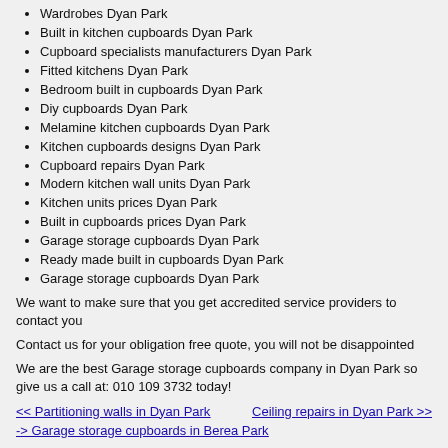Wardrobes Dyan Park
Built in kitchen cupboards Dyan Park
Cupboard specialists manufacturers Dyan Park
Fitted kitchens Dyan Park
Bedroom built in cupboards Dyan Park
Diy cupboards Dyan Park
Melamine kitchen cupboards Dyan Park
Kitchen cupboards designs Dyan Park
Cupboard repairs Dyan Park
Modern kitchen wall units Dyan Park
Kitchen units prices Dyan Park
Built in cupboards prices Dyan Park
Garage storage cupboards Dyan Park
Ready made built in cupboards Dyan Park
Garage storage cupboards Dyan Park
We want to make sure that you get accredited service providers to contact you
Contact us for your obligation free quote, you will not be disappointed
We are the best Garage storage cupboards company in Dyan Park so give us a call at: 010 109 3732 today!
<< Partitioning walls in Dyan Park    Ceiling repairs in Dyan Park >>
-> Garage storage cupboards in Berea Park